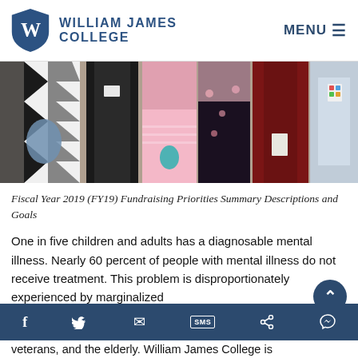William James College | MENU
[Figure (photo): Group of people standing together, cropped at waist level, wearing various colorful outfits including black-and-white patterned dress, pink lace skirt, floral dress, dark suit, maroon jacket, and light blue outfit.]
Fiscal Year 2019 (FY19) Fundraising Priorities Summary Descriptions and Goals
One in five children and adults has a diagnosable mental illness. Nearly 60 percent of people with mental illness do not receive treatment. This problem is disproportionately experienced by marginalized veterans, and the elderly. William James College is
Social share bar: Facebook, Twitter, Email, SMS, Share, Messenger